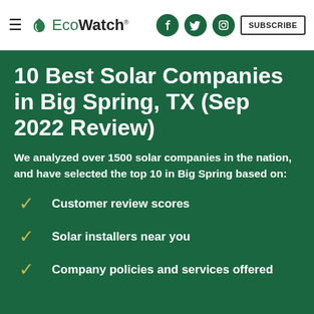≡ EcoWatch® [facebook] [twitter] [instagram] SUBSCRIBE
10 Best Solar Companies in Big Spring, TX (Sep 2022 Review)
We analyzed over 1500 solar companies in the nation, and have selected the top 10 in Big Spring based on:
Customer review scores
Solar installers near you
Company policies and services offered